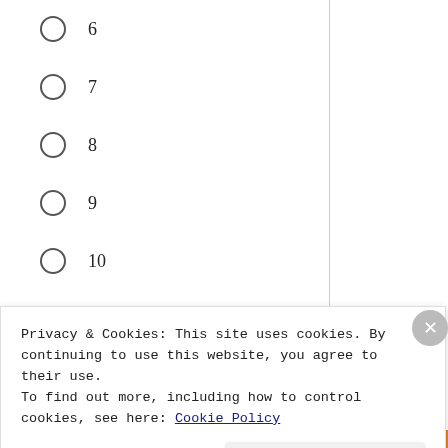6
7
8
9
10
11
12
Privacy & Cookies: This site uses cookies. By continuing to use this website, you agree to their use.
To find out more, including how to control cookies, see here: Cookie Policy
Close and accept